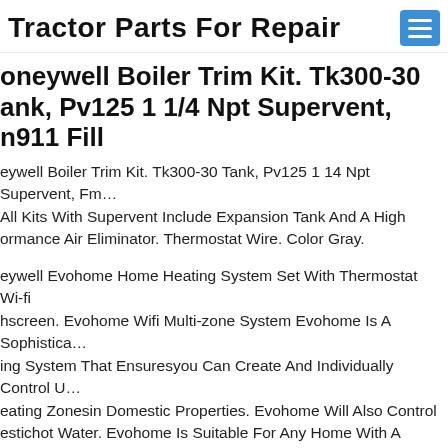Tractor Parts For Repair
Honeywell Boiler Trim Kit. Tk300-30 Tank, Pv125 1 1/4 Npt Supervent, m911 Fill
Honeywell Boiler Trim Kit. Tk300-30 Tank, Pv125 1 14 Npt Supervent, Fm... All Kits With Supervent Include Expansion Tank And A High Performance Air Eliminator. Thermostat Wire. Color Gray.
Honeywell Evohome Home Heating System Set With Thermostat Wi-fi Touchscreen. Evohome Wifi Multi-zone System Evohome Is A Sophisticated Heating System That Ensuresyou Can Create And Individually Control Up Heating Zonesin Domestic Properties. Evohome Will Also Control Domestichot Water. Evohome Is Suitable For Any Home With A Hydronic Centralheating System. Zoning Solutions Can Be Designed For Even Simplest Of Property Layouts. Evohome Is Ideal When Lookingto Control Temperatures In Larger Properties Such As Luxuryapartments Large Fa... Houses With Boutique Amenities Or...